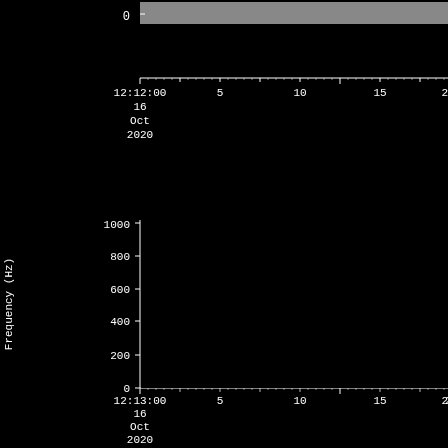[Figure (continuous-plot): Spectrogram panel (top, partially cropped) showing frequency content vs time ending at 12:12:00 on 16 Oct 2020. A gray horizontal bar near y=0 is visible at the top. X-axis tick labels: 12:12:00, 5, 10, 15, 20, 2 (partially shown); date label: 16 Oct 2020.]
[Figure (continuous-plot): Spectrogram panel (2) showing Frequency (Hz) vs time from 12:13:00 on 16 Oct 2020. Y-axis: 0 to 1000 Hz. Plot area is entirely black (no signal). X-axis tick labels: 12:13:00, 5, 10, 15, 20, 2 (partially shown); date label: 16 Oct 2020.]